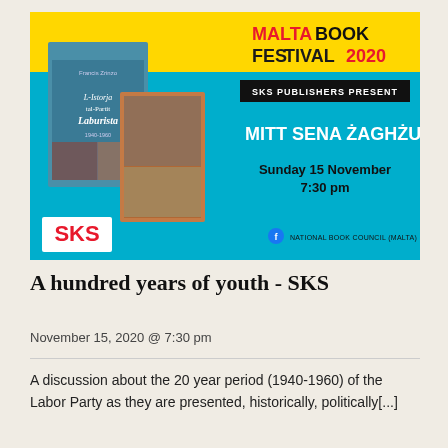[Figure (illustration): Malta Book Festival 2020 promotional banner. Yellow top band, cyan/blue section, book cover image on left showing 'L-Istorja tal-Partit Laburista' by Francis Zrinzo, SKS Publishers present text in black box, title 'MITT SENA ŻAGHŻUGH' in white bold text, 'Sunday 15 November 7:30 pm' in dark text, SKS logo bottom left in red, Facebook National Book Council (Malta) bottom right.]
A hundred years of youth - SKS
November 15, 2020 @ 7:30 pm
A discussion about the 20 year period (1940-1960) of the Labor Party as they are presented, historically, politically[...]